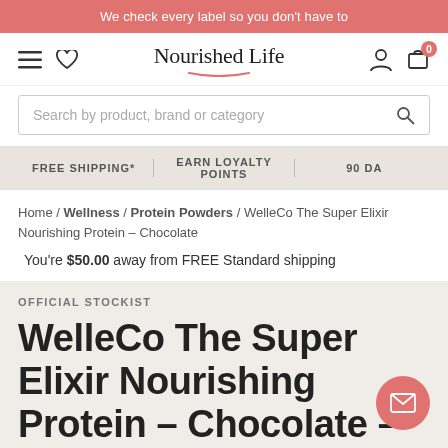We check every label so you don't have to
[Figure (screenshot): Nourished Life website navigation bar with hamburger menu, heart icon, logo, user icon, and cart icon with badge '0']
Search by product, brand or category
FREE SHIPPING* | EARN LOYALTY POINTS | 90 DA
Home / Wellness / Protein Powders / WelleCo The Super Elixir Nourishing Protein – Chocolate
You're $50.00 away from FREE Standard shipping
OFFICIAL STOCKIST
WelleCo The Super Elixir Nourishing Protein – Chocolate – 300g Caddy